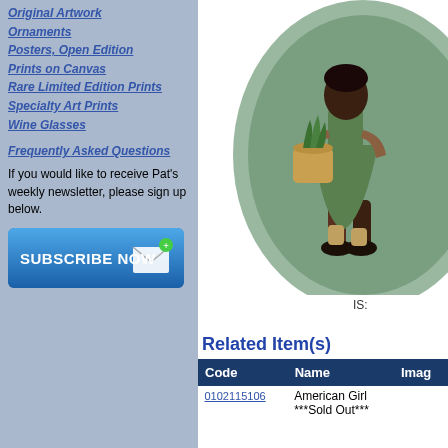Original Artwork
Ornaments
Posters, Open Edition
Prints on Canvas
Rare Limited Edition Prints
Specialty Art Prints
Wine Glasses
Frequently Asked Questions
If you would like to receive Pat's weekly newsletter, please sign up below.
[Figure (screenshot): Blue 'Subscribe Now' button with envelope icon]
[Figure (illustration): Circular folk art illustration of a girl carrying a basket of plants, wearing green dress and brown boots]
IS:
Related Item(s)
| Code | Name | Imag |
| --- | --- | --- |
| 0102115106 | American Girl ***Sold Out*** |  |